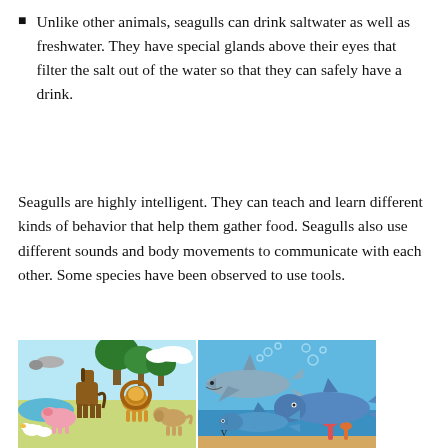Unlike other animals, seagulls can drink saltwater as well as freshwater. They have special glands above their eyes that filter the salt out of the water so that they can safely have a drink.
Seagulls are highly intelligent. They can teach and learn different kinds of behavior that help them gather food. Seagulls also use different sounds and body movements to communicate with each other. Some species have been observed to use tools.
[Figure (illustration): Two cartoon-style illustrations side by side: left shows land animals (horse, lion, pig, dog, duck, goose) with trees and sky; right shows marine animals (shark, whale, dolphin) underwater with bubbles and coral.]
v